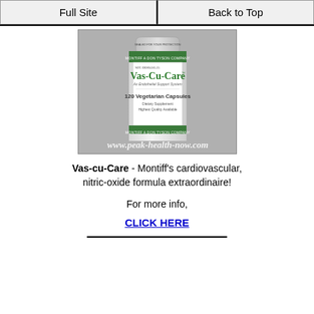Full Site | Back to Top
[Figure (photo): A white plastic supplement bottle labeled Vas-Cu-Care, 120 Vegetarian Capsules, An Endothelial Support System, Dietary Supplement, Highest Quality Available, with green bands and Montiff branding. Watermark: www.peak-health-now.com]
Vas-cu-Care - Montiff's cardiovascular, nitric-oxide formula extraordinaire!
For more info,
CLICK HERE